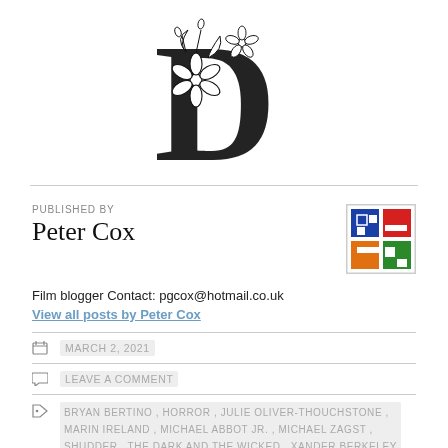[Figure (logo): Decorative floral letter D logo in black and white]
PUBLISHED BY
Peter Cox
[Figure (illustration): Colorful grid avatar with blue, red, orange, green squares]
Film blogger Contact: pgcox@hotmail.co.uk
View all posts by Peter Cox
MARCH 2, 2021
LEAVE A COMMENT
BRYAN BERTINO , HORROR , JULIE OLIVER-THOUCHSTONE , MARIN IRELAND , MICHAEL ABBOT JR. , MICHAEL ZAGST , SHUDDER , THE DARK AND THE WICKED , XANDER BERKELEY